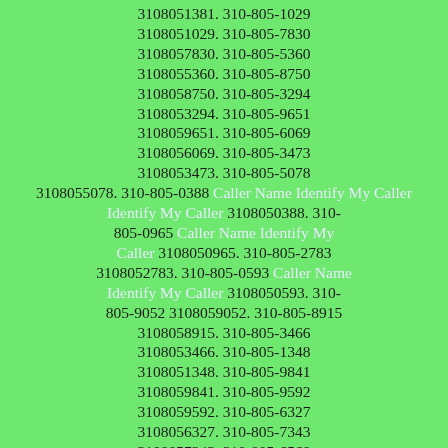3108051381. 310-805-1029 3108051029. 310-805-7830 3108057830. 310-805-5360 3108055360. 310-805-8750 3108058750. 310-805-3294 3108053294. 310-805-9651 3108059651. 310-805-6069 3108056069. 310-805-3473 3108053473. 310-805-5078 3108055078. 310-805-0388 Caller Name Identify My Caller 3108050388. 310-805-0965 Caller Name Identify My Caller 3108050965. 310-805-2783 3108052783. 310-805-0593 Caller Name Identify My Caller 3108050593. 310-805-9052 3108059052. 310-805-8915 3108058915. 310-805-3466 3108053466. 310-805-1348 3108051348. 310-805-9841 3108059841. 310-805-9592 3108059592. 310-805-6327 3108056327. 310-805-7343 3108057343. 310-805-6568 3108056568. 310-805-5170 3108055170. 310-805-8981